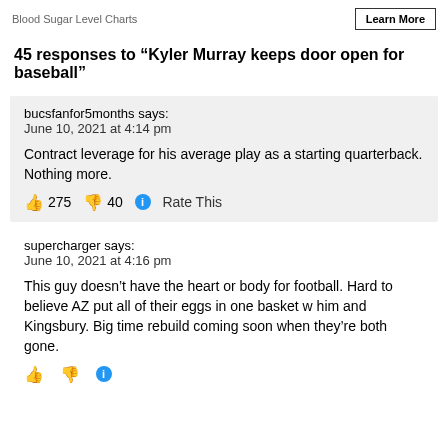Blood Sugar Level Charts
45 responses to “Kyler Murray keeps door open for baseball”
bucsfanfor5months says:
June 10, 2021 at 4:14 pm

Contract leverage for his average play as a starting quarterback. Nothing more.

👍 275 👎 40 ℹ Rate This
supercharger says:
June 10, 2021 at 4:16 pm

This guy doesn’t have the heart or body for football. Hard to believe AZ put all of their eggs in one basket w him and Kingsbury. Big time rebuild coming soon when they’re both gone.